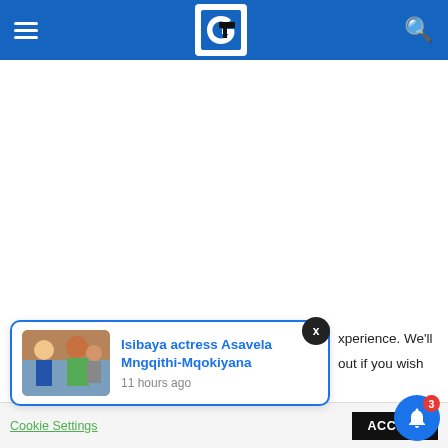G (logo) navigation header with hamburger menu and search icon
Home › Sports
[Figure (screenshot): News notification popup showing article: Isibaya actress Asavela Mngqithi-Mqokiyana, 11 hours ago, with thumbnail image of people and blue close button. Background shows cookie consent bar with Cookie Settings and ACCEPT button, and a blue bell notification button with badge showing 3.]